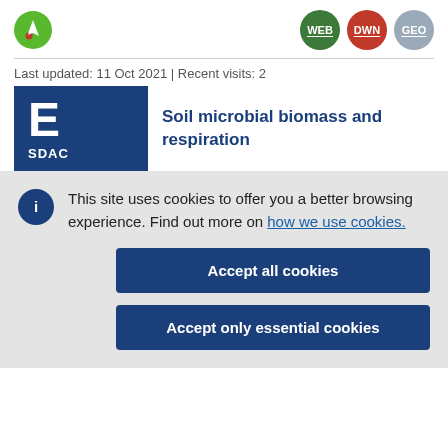[Figure (logo): Green circular logo with a rocket/mountain icon]
[Figure (other): Navigation buttons: WEB (green circle), DWN (red circle), GEO (grey circle)]
Last updated: 11 Oct 2021 | Recent visits: 2
Soil microbial biomass and respiration
This site uses cookies to offer you a better browsing experience. Find out more on how we use cookies.
Accept all cookies
Accept only essential cookies